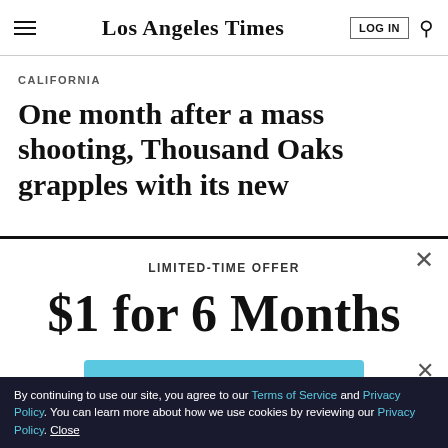Los Angeles Times
CALIFORNIA
One month after a mass shooting, Thousand Oaks grapples with its new
LIMITED-TIME OFFER
$1 for 6 Months
SUBSCRIBE NOW
By continuing to use our site, you agree to our Terms of Service and Privacy Policy. You can learn more about how we use cookies by reviewing our Privacy Policy. Close